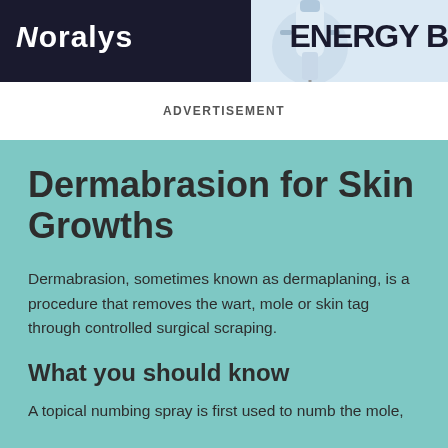[Figure (photo): Advertisement banner with dark navy background showing 'Noralys' brand logo text and a medical device image on the right side with 'ENERGY' text in bold black]
ADVERTISEMENT
Dermabrasion for Skin Growths
Dermabrasion, sometimes known as dermaplaning, is a procedure that removes the wart, mole or skin tag through controlled surgical scraping.
What you should know
A topical numbing spray is first used to numb the mole,